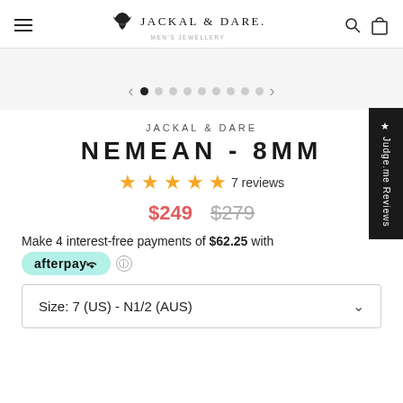Jackal & Dare — Men's Jewellery
[Figure (other): Carousel navigation with left/right arrows and page dots (1 active, 8 inactive)]
JACKAL & DARE
NEMEAN - 8MM
★★★★★ 7 reviews
$249  $279
Make 4 interest-free payments of $62.25 with afterpay ℹ
Size: 7 (US) - N1/2 (AUS)